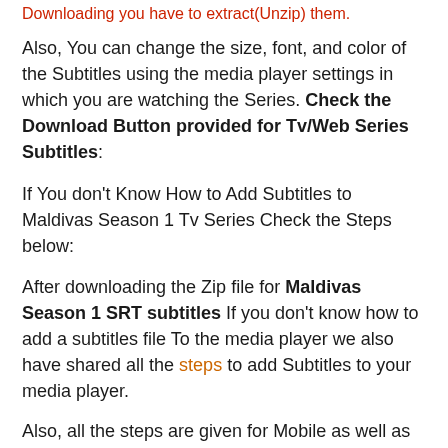Downloading you have to extract(Unzip) them.
Also, You can change the size, font, and color of the Subtitles using the media player settings in which you are watching the Series. Check the Download Button provided for Tv/Web Series Subtitles:
If You don't Know How to Add Subtitles to Maldivas Season 1 Tv Series Check the Steps below:
After downloading the Zip file for Maldivas Season 1 SRT subtitles If you don't know how to add a subtitles file To the media player we also have shared all the steps to add Subtitles to your media player.
Also, all the steps are given for Mobile as well as for desktop Subtitles add method. You can simply follow